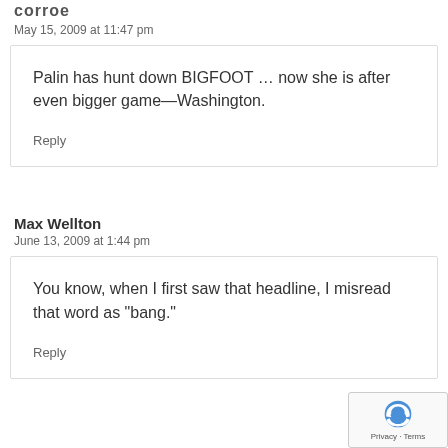corroe
May 15, 2009 at 11:47 pm
Palin has hunt down BIGFOOT … now she is after even bigger game—Washington.
Reply
Max Wellton
June 13, 2009 at 1:44 pm
You know, when I first saw that headline, I misread that word as "bang."
Reply